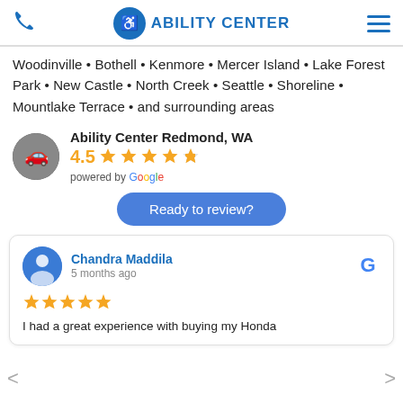Ability Center (logo) | phone icon | hamburger menu
Woodinville • Bothell • Kenmore • Mercer Island • Lake Forest Park • New Castle • North Creek • Seattle • Shoreline • Mountlake Terrace • and surrounding areas
Ability Center Redmond, WA
4.5 stars
powered by Google
Ready to review?
Chandra Maddila
5 months ago
5 stars
I had a great experience with buying my Honda